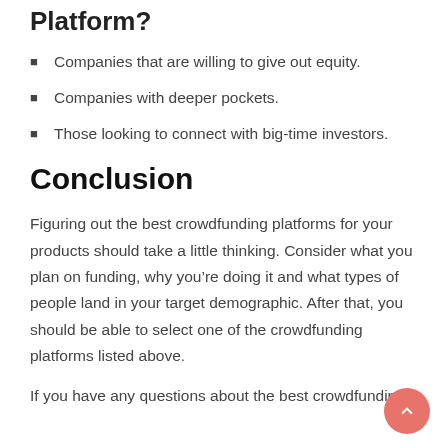Platform?
Companies that are willing to give out equity.
Companies with deeper pockets.
Those looking to connect with big-time investors.
Conclusion
Figuring out the best crowdfunding platforms for your products should take a little thinking. Consider what you plan on funding, why you’re doing it and what types of people land in your target demographic. After that, you should be able to select one of the crowdfunding platforms listed above.
If you have any questions about the best crowdfunding